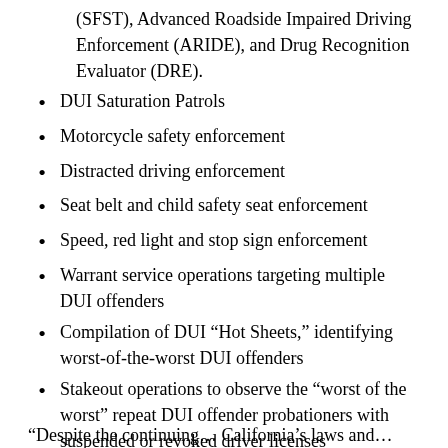(SFST), Advanced Roadside Impaired Driving Enforcement (ARIDE), and Drug Recognition Evaluator (DRE).
DUI Saturation Patrols
Motorcycle safety enforcement
Distracted driving enforcement
Seat belt and child safety seat enforcement
Speed, red light and stop sign enforcement
Warrant service operations targeting multiple DUI offenders
Compilation of DUI “Hot Sheets,” identifying worst-of-the-worst DUI offenders
Stakeout operations to observe the “worst of the worst” repeat DUI offender probationers with suspended or revoked driver licenses
“Despite the continuing… California’s laws and…